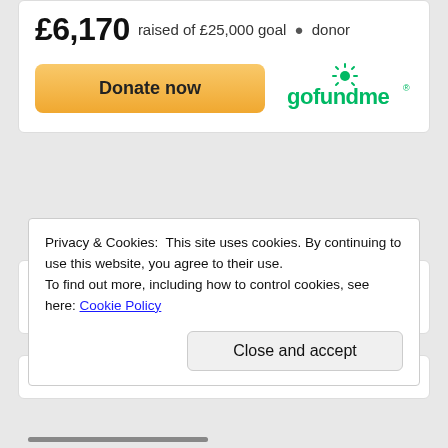£6,170 raised of £25,000 goal • donor
[Figure (other): Donate now button with GoFundMe logo]
YOU MAY HAVE MISSED
Privacy & Cookies: This site uses cookies. By continuing to use this website, you agree to their use.
To find out more, including how to control cookies, see here: Cookie Policy
Close and accept